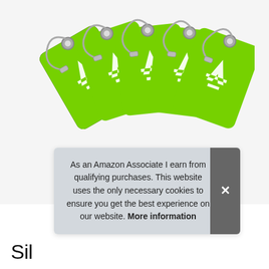[Figure (photo): Five green luggage tags with white airplane silhouettes and silver metal cable loops, fanned out diagonally from left to right against a light gray/white background.]
As an Amazon Associate I earn from qualifying purchases. This website uses the only necessary cookies to ensure you get the best experience on our website. More information
Sil